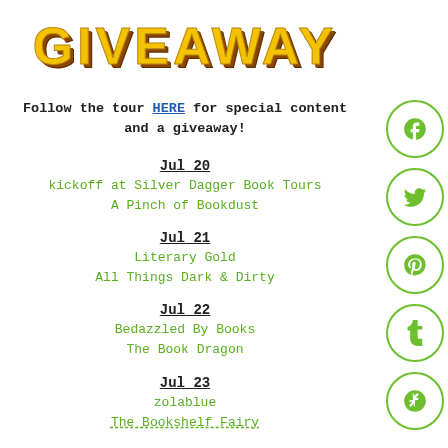GIVEAWAY
Follow the tour HERE for special content and a giveaway!
Jul 20
kickoff at Silver Dagger Book Tours
A Pinch of Bookdust
Jul 21
Literary Gold
All Things Dark & Dirty
Jul 22
Bedazzled By Books
The Book Dragon
Jul 23
zolablue
The Bookshelf Fairy